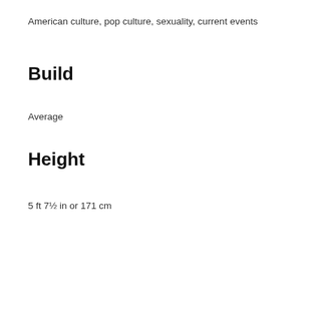American culture, pop culture, sexuality, current events
Build
Average
Height
5 ft 7½ in or 171 cm